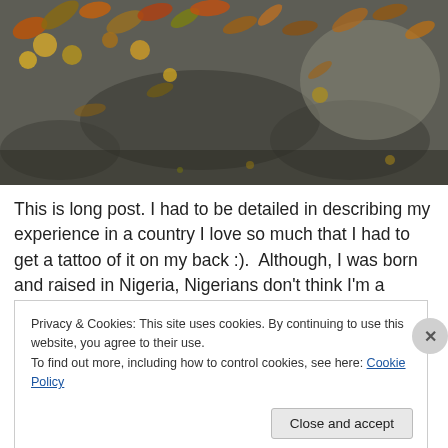[Figure (photo): Outdoor ground scene with fallen leaves and fruits scattered on dark asphalt/soil surface]
This is long post. I had to be detailed in describing my experience in a country I love so much that I had to get a tattoo of it on my back :).  Although, I was born and raised in Nigeria, Nigerians don't think I'm a Nigerian. I always get the 'You don't look Nigerian or even talk like a Nigerian'. It used to piss me off but I no longer care.
Privacy & Cookies: This site uses cookies. By continuing to use this website, you agree to their use.
To find out more, including how to control cookies, see here: Cookie Policy
Close and accept